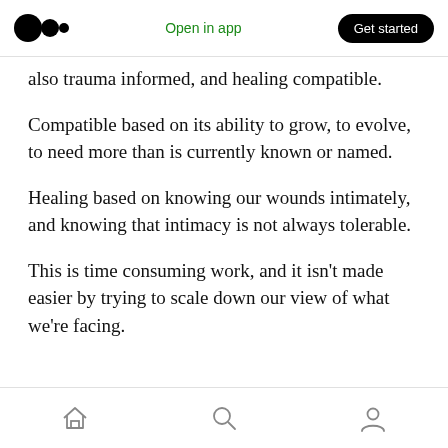Medium logo | Open in app | Get started
also trauma informed, and healing compatible.
Compatible based on its ability to grow, to evolve, to need more than is currently known or named.
Healing based on knowing our wounds intimately, and knowing that intimacy is not always tolerable.
This is time consuming work, and it isn't made easier by trying to scale down our view of what we're facing.
Home | Search | Profile